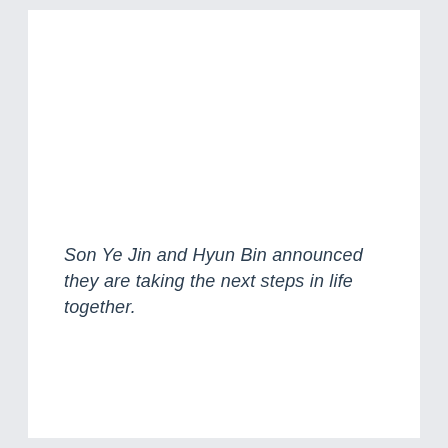Son Ye Jin and Hyun Bin announced they are taking the next steps in life together.